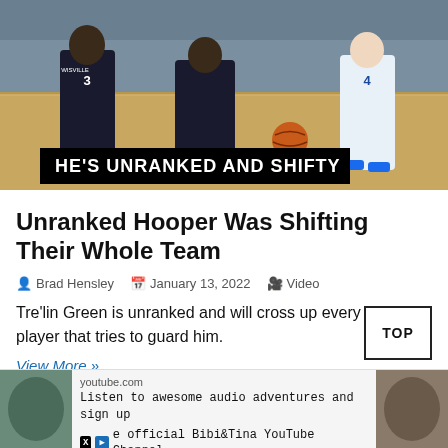[Figure (photo): Basketball players on court, players in dark Lewisville jerseys numbered 3, competing against player in white jersey numbered 4. Text overlay reads HE'S UNRANKED AND SHIFTY.]
Unranked Hooper Was Shifting Their Whole Team
Brad Hensley  January 13, 2022  Video
Tre'lin Green is unranked and will cross up every ranked player that tries to guard him.
View More »
[Figure (screenshot): Advertisement: youtube.com - Listen to awesome audio adventures and sign up e official Bibi&Tina YouTube Channel.]